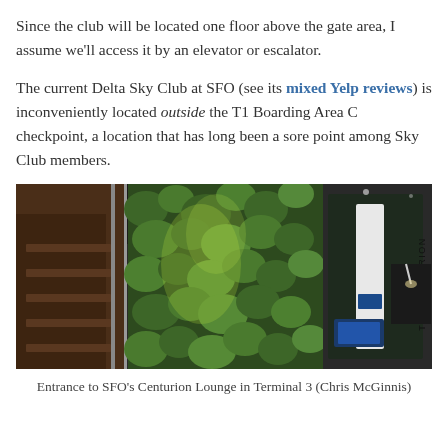Since the club will be located one floor above the gate area, I assume we'll access it by an elevator or escalator.
The current Delta Sky Club at SFO (see its mixed Yelp reviews) is inconveniently located outside the T1 Boarding Area C checkpoint, a location that has long been a sore point among Sky Club members.
[Figure (photo): Photo of the entrance to SFO's Centurion Lounge in Terminal 3, showing a green living plant wall and glass doors with 'The Centurion' signage.]
Entrance to SFO's Centurion Lounge in Terminal 3 (Chris McGinnis)